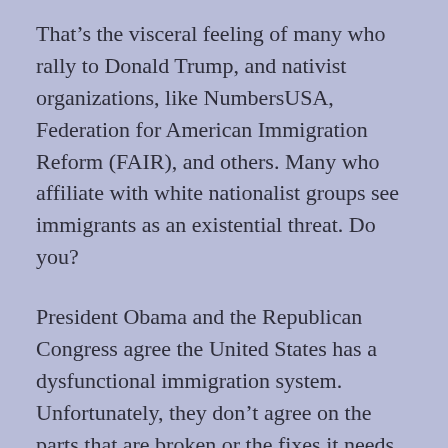That's the visceral feeling of many who rally to Donald Trump, and nativist organizations, like NumbersUSA, Federation for American Immigration Reform (FAIR), and others. Many who affiliate with white nationalist groups see immigrants as an existential threat. Do you?
President Obama and the Republican Congress agree the United States has a dysfunctional immigration system. Unfortunately, they don't agree on the parts that are broken or the fixes it needs. That leaves a policy vacuum. Nature and politics abhor vacuums and Trump is ready to fill it with a simple, comprehensive 'final solution'. So he says.
If elected, Trump says he'll keep immigrant